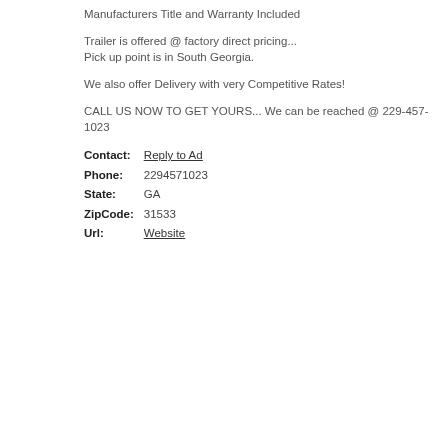Manufacturers Title and Warranty Included
Trailer is offered @ factory direct pricing... Pick up point is in South Georgia.
We also offer Delivery with very Competitive Rates!
CALL US NOW TO GET YOURS... We can be reached @ 229-457-1023
| Field | Value |
| --- | --- |
| Contact: | Reply to Ad |
| Phone: | 2294571023 |
| State: | GA |
| ZipCode: | 31533 |
| Url: | Website |